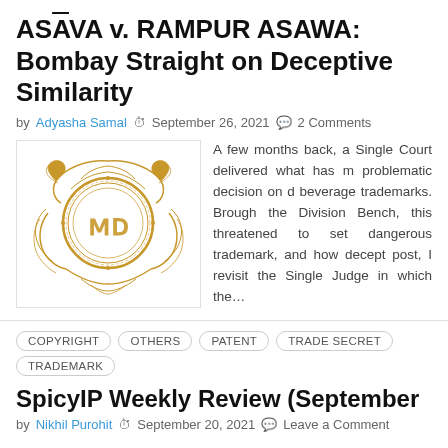ASĀVA v. RAMPUR ASAWA: Bombay Straight on Deceptive Similarity
by Adyasha Samal  September 26, 2021  2 Comments
[Figure (logo): Ornate gold heraldic logo with stylized letters inside a circular crest with decorative flourishes]
A few months back, a Single Court delivered what has m problematic decision on d beverage trademarks. Brough the Division Bench, this  threatened to set dangerous  trademark, and how decept post, I revisit the Single Judge in which the...
COPYRIGHT
OTHERS
PATENT
TRADE SECRET
TRADEMARK
SpicyIP Weekly Review (September
by Nikhil Purohit  September 20, 2021  Leave a Comment